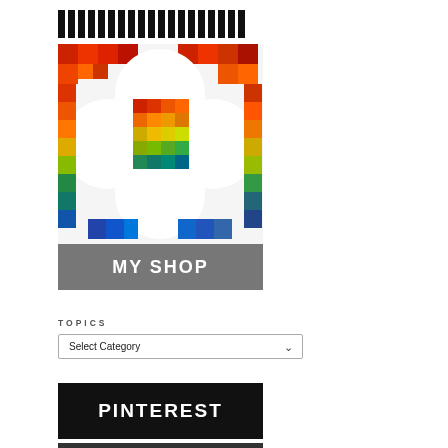[Figure (other): Barcode-style black vertical bars strip at the top]
[Figure (photo): Colorful pixelated quilt pattern with rainbow circles on white background, with a gray MY SHOP label below]
TOPICS
Select Category
[Figure (other): Black button with white bold text: PINTEREST]
[Figure (other): Dark gray button with white bold text: TWITTER]